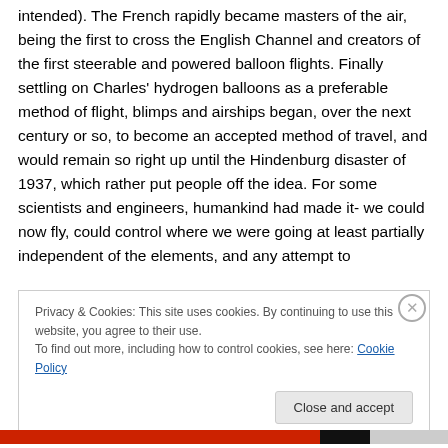intended). The French rapidly became masters of the air, being the first to cross the English Channel and creators of the first steerable and powered balloon flights. Finally settling on Charles' hydrogen balloons as a preferable method of flight, blimps and airships began, over the next century or so, to become an accepted method of travel, and would remain so right up until the Hindenburg disaster of 1937, which rather put people off the idea. For some scientists and engineers, humankind had made it- we could now fly, could control where we were going at least partially independent of the elements, and any attempt to
Privacy & Cookies: This site uses cookies. By continuing to use this website, you agree to their use.
To find out more, including how to control cookies, see here: Cookie Policy